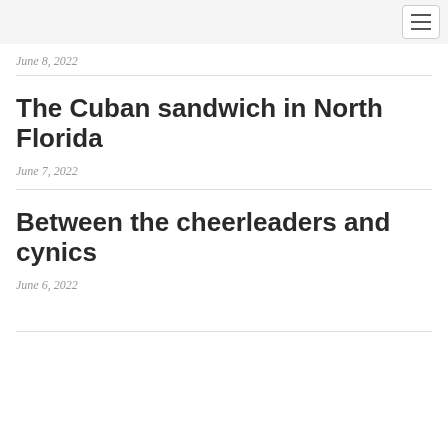June 8, 2022
The Cuban sandwich in North Florida
June 7, 2022
Between the cheerleaders and cynics
June 6, 2022